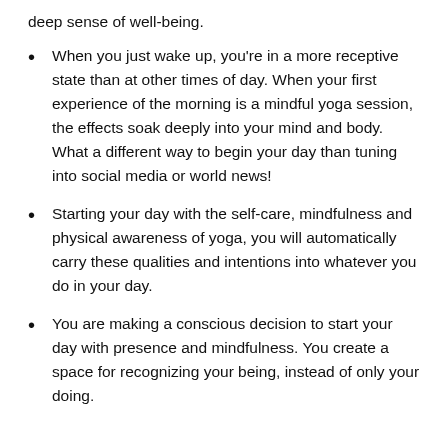deep sense of well-being.
When you just wake up, you're in a more receptive state than at other times of day. When your first experience of the morning is a mindful yoga session, the effects soak deeply into your mind and body. What a different way to begin your day than tuning into social media or world news!
Starting your day with the self-care, mindfulness and physical awareness of yoga, you will automatically carry these qualities and intentions into whatever you do in your day.
You are making a conscious decision to start your day with presence and mindfulness. You create a space for recognizing your being, instead of only your doing.